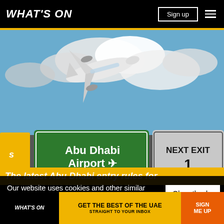WHAT'S ON
[Figure (photo): Airplane flying over road signs for Abu Dhabi Airport and NEXT EXIT against a partly cloudy blue sky]
The latest Abu Dhabi entry rules for...
Our website uses cookies and other similar technologies to improve our site and your online experience. By continuing to use our website you consent... our pr...
[Figure (infographic): Bottom promotional bar: WHAT'S ON logo, GET THE BEST OF THE UAE STRAIGHT TO YOUR INBOX, SIGN ME UP button]